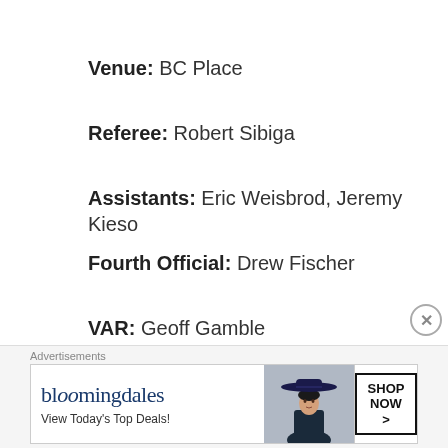Venue: BC Place
Referee: Robert Sibiga
Assistants: Eric Weisbrod, Jeremy Kieso
Fourth Official: Drew Fischer
VAR: Geoff Gamble
Attendance: 27,863
[Figure (other): Bloomingdale's advertisement banner with hat image and 'SHOP NOW >' button, tagline 'View Today's Top Deals!']